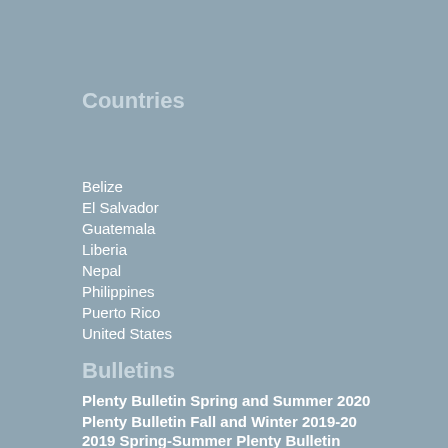Countries
Belize
El Salvador
Guatemala
Liberia
Nepal
Philippines
Puerto Rico
United States
Bulletins
Plenty Bulletin Spring and Summer 2020
Plenty Bulletin Fall and Winter 2019-20
2019 Spring-Summer Plenty Bulletin
2018 Fall/Winter Bulletin